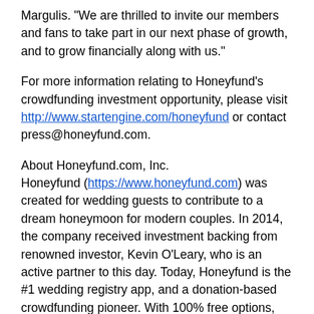Margulis. "We are thrilled to invite our members and fans to take part in our next phase of growth, and to grow financially along with us."
For more information relating to Honeyfund's crowdfunding investment opportunity, please visit http://www.startengine.com/honeyfund or contact press@honeyfund.com.
About Honeyfund.com, Inc.
Honeyfund (https://www.honeyfund.com) was created for wedding guests to contribute to a dream honeymoon for modern couples. In 2014, the company received investment backing from renowned investor, Kevin O'Leary, who is an active partner to this day. Today, Honeyfund is the #1 wedding registry app, and a donation-based crowdfunding pioneer. With 100% free options, Honeyfund and Plumfund power giving and receiving cash and experiences for life's many occasions.
How we survived COVID-19 — The Return to Travel...